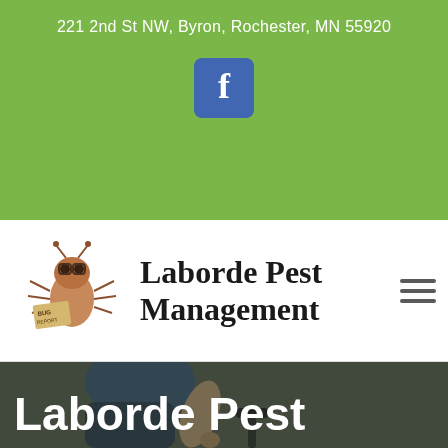221 2nd St NW, Byron, Rochester, MN 55920
[Figure (logo): Facebook icon - blue rounded square with white letter f]
Laborde Pest Management
[Figure (logo): Laborde Pest Management bug mascot logo - cartoon insect holding a Bug Report sign]
[Figure (photo): A person kneeling down inserting a pest control stake into the ground outdoors]
Laborde Pest